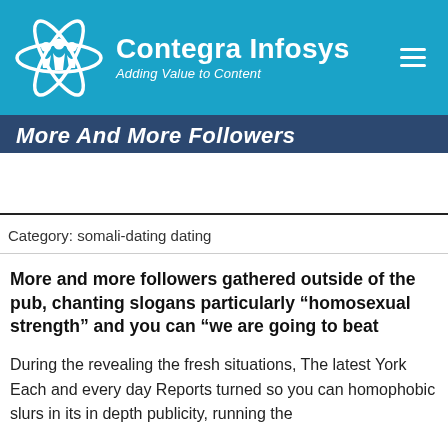Contegra Infosys — Adding Value to Content
More And More Followers
Category: somali-dating dating
More and more followers gathered outside of the pub, chanting slogans particularly “homosexual strength” and you can “we are going to beat
During the revealing the fresh situations, The latest York Each and every day Reports turned so you can homophobic slurs in its in depth publicity, running the